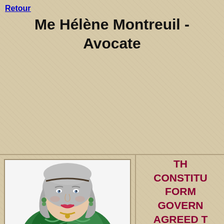Retour
Me Hélène Montreuil - Avocate
[Figure (photo): Portrait photo of Me Hélène Montreuil, a woman with shoulder-length gray hair, wearing a colorful green patterned top and gold jewelry, smiling at the camera.]
THE CONSTITUTION FORM GOVERNMENT AGREED T RESOLVED BY TH DELEGATION REPRESENT OF THE SE COUNT